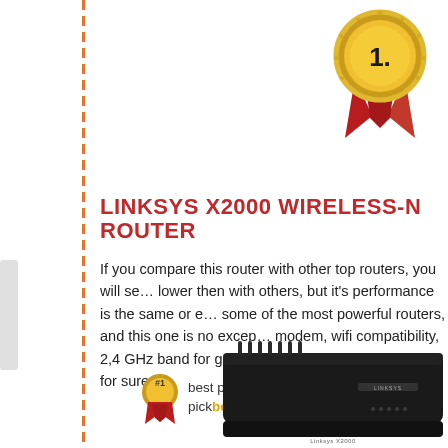[Figure (illustration): Gold number 1 award medal with red ribbon banner at top right]
LINKSYS X2000 WIRELESS-N ROUTER
If you compare this router with other top routers, you will see that the price is lower then with others, but it's performance is the same or even better. Linksys makes some of the most powerful routers, and this one is no exception. Built-in DSL modem, wifi compatibility, 2,4 GHz band for great connection speed... this is a fantastic product, for sure.
[Figure (logo): #1 best pick by pickbestbuy.com badge with small medal icon]
[Figure (photo): Linksys X2000 wireless-N router, black, viewed from front/top angle]